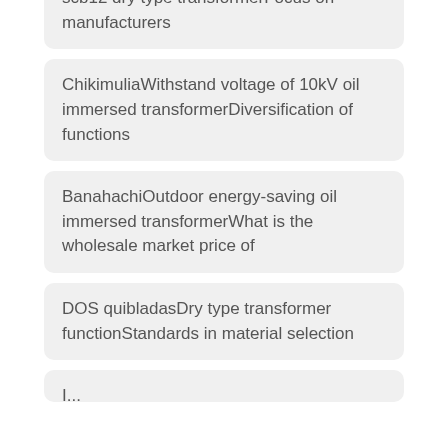scb12 dry type transformerFocus on manufacturers
ChikimuliaWithstand voltage of 10kV oil immersed transformerDiversification of functions
BanahachiOutdoor energy-saving oil immersed transformerWhat is the wholesale market price of
DOS quibladasDry type transformer functionStandards in material selection
I...